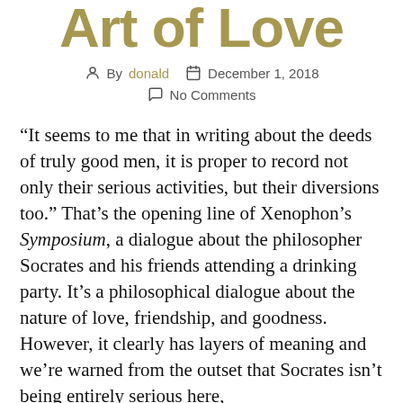Art of Love
By donald   December 1, 2018
No Comments
“It seems to me that in writing about the deeds of truly good men, it is proper to record not only their serious activities, but their diversions too.” That’s the opening line of Xenophon’s Symposium, a dialogue about the philosopher Socrates and his friends attending a drinking party. It’s a philosophical dialogue about the nature of love, friendship, and goodness. However, it clearly has layers of meaning and we’re warned from the outset that Socrates isn’t being entirely serious here,